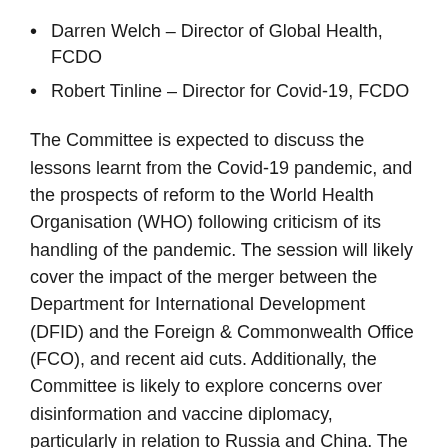Darren Welch – Director of Global Health, FCDO
Robert Tinline – Director for Covid-19, FCDO
The Committee is expected to discuss the lessons learnt from the Covid-19 pandemic, and the prospects of reform to the World Health Organisation (WHO) following criticism of its handling of the pandemic. The session will likely cover the impact of the merger between the Department for International Development (DFID) and the Foreign & Commonwealth Office (FCO), and recent aid cuts. Additionally, the Committee is likely to explore concerns over disinformation and vaccine diplomacy, particularly in relation to Russia and China. The Committee will hear from Minister Wendy Morton, and officials Rob Tinline and Darren Welch.
Wendy Morton is the Minister for European Neighbourhood and the Americas at the Foreign, Commonwealth & Development Office (FCDO). Her responsibilities include health, global health security, multilateral health...